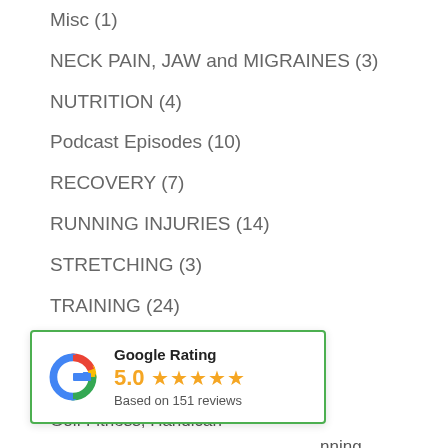Misc (1)
NECK PAIN, JAW and MIGRAINES (3)
NUTRITION (4)
Podcast Episodes (10)
RECOVERY (7)
RUNNING INJURIES (14)
STRETCHING (3)
TRAINING (24)
Uncategorized (40)
Recent Posts
Golf Fitness, Handican
...nning
...hat?
Ep 6: Joel Adelman: Breaking Down Your Running Technique
[Figure (infographic): Google Rating widget showing 5.0 stars based on 151 reviews, with Google G logo and green top border]